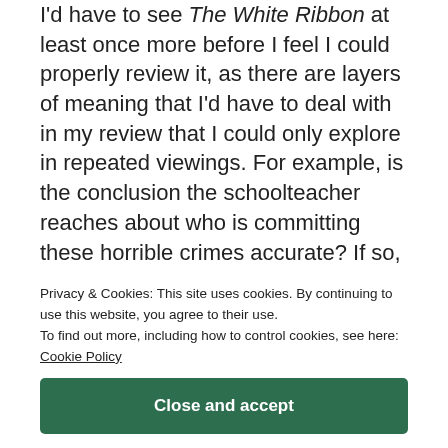I'd have to see The White Ribbon at least once more before I feel I could properly review it, as there are layers of meaning that I'd have to deal with in my review that I could only explore in repeated viewings. For example, is the conclusion the schoolteacher reaches about who is committing these horrible crimes accurate? If so, what are the implications, and what is Haneke saying about society as a whole? And, due to what we find out later about the people (or families)
Privacy & Cookies: This site uses cookies. By continuing to use this website, you agree to their use.
To find out more, including how to control cookies, see here:
Cookie Policy
Close and accept
I do have to say, though, that a film that engages me from beginning to end, with absolutely no dead